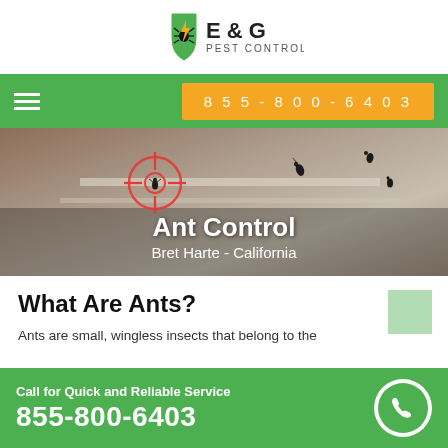[Figure (logo): E & G Pest Control logo with shield icon and lightning bolt]
855-800-6403
[Figure (photo): Close-up photo of ants on a surface with a red crosshair target overlay]
Ant Control
Bret Harte - California
What Are Ants?
Ants are small, wingless insects that belong to the
Call for Quick and Reliable Service
855-800-6403